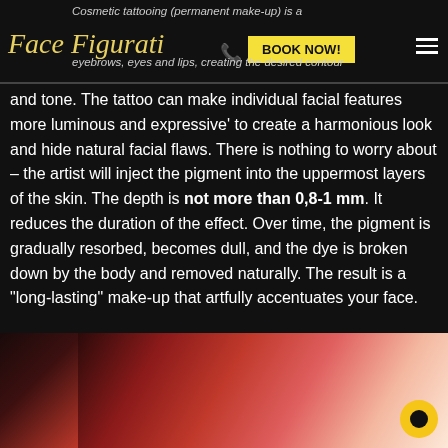Cosmetic tattooing (permanent make-up) is a cosmetic procedure to correct features of the eyebrows, eyes and lips, creating the desired contour
and tone. The tattoo can make individual facial features more luminous and expressive' to create a harmonious look and hide natural facial flaws. There is nothing to worry about – the artist will inject the pigment into the uppermost layers of the skin. The depth is not more than 0,8-1 mm. It reduces the duration of the effect. Over time, the pigment is gradually resorbed, becomes dull, and the dye is broken down by the body and removed naturally. The result is a “long-lasting” make-up that artfully accentuates your face.
[Figure (photo): Close-up photo of red/pink lip tattoo pigment on skin, showing cosmetic tattooing result. A yellow circular chat button is visible in the bottom right corner.]